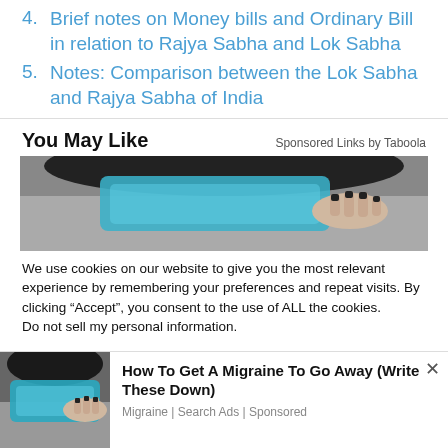4. Brief notes on Money bills and Ordinary Bill in relation to Rajya Sabha and Lok Sabha
5. Notes: Comparison between the Lok Sabha and Rajya Sabha of India
You May Like
Sponsored Links by Taboola
[Figure (photo): Black and white photo of a woman holding a blue ice/gel pack against her head]
We use cookies on our website to give you the most relevant experience by remembering your preferences and repeat visits. By clicking “Accept”, you consent to the use of ALL the cookies.
Do not sell my personal information.
[Figure (photo): Small thumbnail of a woman holding a blue ice pack to her head]
How To Get A Migraine To Go Away (Write These Down)
Migraine | Search Ads | Sponsored